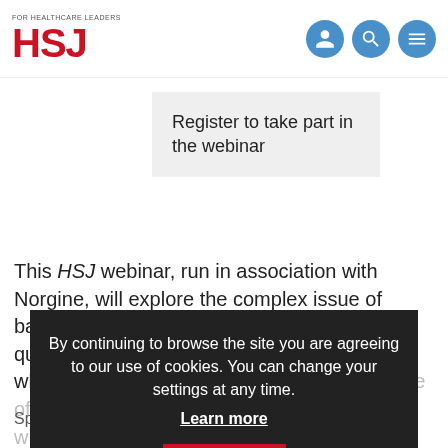FOR HEALTHCARE LEADERS HSJ
Register to take part in the webinar
This HSJ webinar, run in association with Norgine, will explore the complex issue of balancing clinical efficacy of treatments with quality of life for patients. They are issues which might be...
By continuing to browse the site you are agreeing to our use of cookies. You can change your settings at any time. Learn more OK
Specifically...